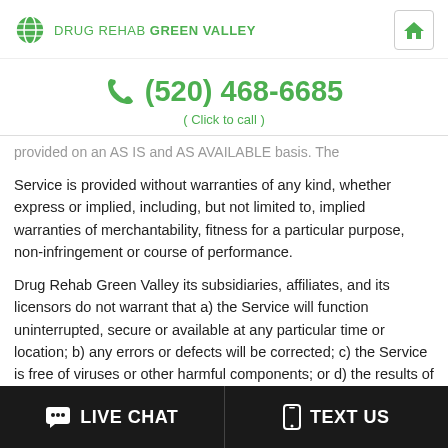DRUG REHAB GREEN VALLEY
(520) 468-6685
( Click to call )
provided on an AS IS and AS AVAILABLE basis. The Service is provided without warranties of any kind, whether express or implied, including, but not limited to, implied warranties of merchantability, fitness for a particular purpose, non-infringement or course of performance.
Drug Rehab Green Valley its subsidiaries, affiliates, and its licensors do not warrant that a) the Service will function uninterrupted, secure or available at any particular time or location; b) any errors or defects will be corrected; c) the Service is free of viruses or other harmful components; or d) the results of using the Service will meet your
LIVE CHAT   TEXT US